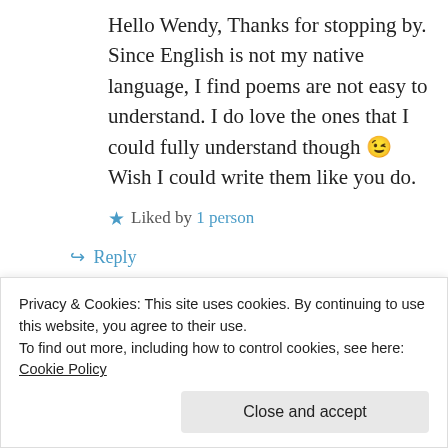Hello Wendy, Thanks for stopping by. Since English is not my native language, I find poems are not easy to understand. I do love the ones that I could fully understand though 😉 Wish I could write them like you do.
★ Liked by 1 person
↪ Reply
Muzzy on March 15, 2015 at 4:44 am
One of the things I like about word
Privacy & Cookies: This site uses cookies. By continuing to use this website, you agree to their use.
To find out more, including how to control cookies, see here: Cookie Policy